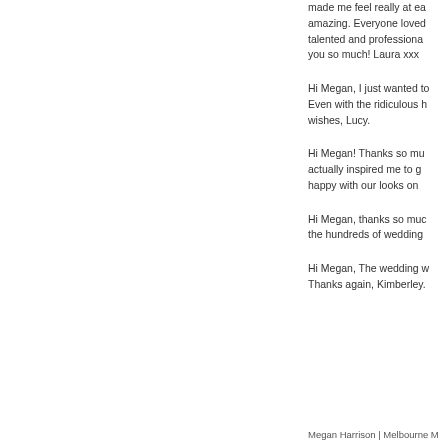made me feel really at ease, amazing. Everyone loved it, talented and professional, thank you so much! Laura xxx
Hi Megan, I just wanted to... Even with the ridiculous h... wishes, Lucy.
Hi Megan! Thanks so mu... actually inspired me to ge... happy with our looks on ...
Hi Megan, thanks so muc... the hundreds of wedding...
Hi Megan, The wedding w... Thanks again, Kimberley.
Megan Harrison | Melbourne M...